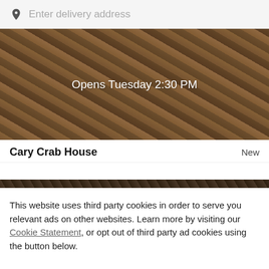Enter delivery address
[Figure (photo): Food image with overlay text 'Opens Tuesday 2:30 PM']
Cary Crab House
New
[Figure (photo): Narrow dark image strip of food]
This website uses third party cookies in order to serve you relevant ads on other websites. Learn more by visiting our Cookie Statement, or opt out of third party ad cookies using the button below.
OPT OUT
GOT IT